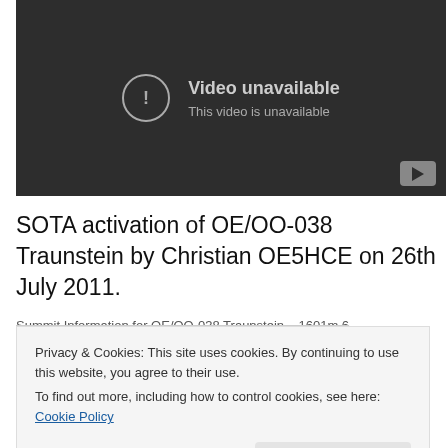[Figure (screenshot): YouTube video player showing 'Video unavailable' message with exclamation icon and YouTube logo button in bottom right corner on dark background]
SOTA activation of OE/OO-038 Traunstein by Christian OE5HCE on 26th July 2011.
Summit Information for OE/OO-038 Traunstein – 1601m  6
Privacy & Cookies: This site uses cookies. By continuing to use this website, you agree to their use.
To find out more, including how to control cookies, see here: Cookie Policy
Close and accept